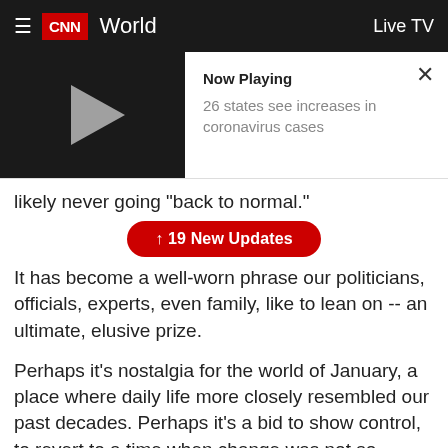CNN World | Live TV
[Figure (screenshot): Video player thumbnail showing play button on dark background with 'Now Playing: 26 states see increases in coronavirus cases' and close X button]
likely never going "back to normal."
↑ 19 New Updates
It has become a well-worn phrase our politicians, officials, experts, even family, like to lean on -- an ultimate, elusive prize.
Perhaps it's nostalgia for the world of January, a place where daily life more closely resembled our past decades. Perhaps it's a bid to show control, to revert to a time when change was not so universally imposed upon us.
But January is long gone, and it's not coming back.